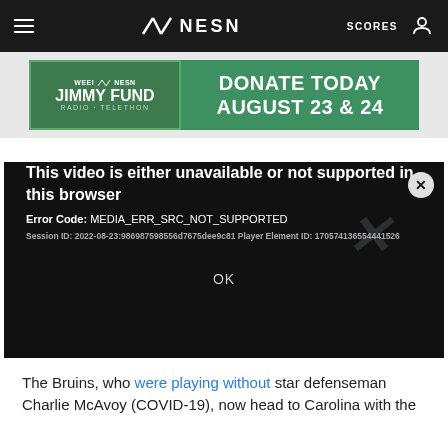NESN — SCORES
[Figure (screenshot): WEEI NESN Jimmy Fund Radio-Telethon advertisement banner: DONATE TODAY AUGUST 23 & 24]
[Figure (screenshot): Video player error dialog on dark background. Error: 'This video is either unavailable or not supported in this browser'. Error Code: MEDIA_ERR_SRC_NOT_SUPPORTED. Session ID: 2022-08-23:986987598556d7675dee9c81 Player Element ID: 170574136554441526. OK button shown.]
The Bruins, who were playing without star defenseman Charlie McAvoy (COVID-19), now head to Carolina with the